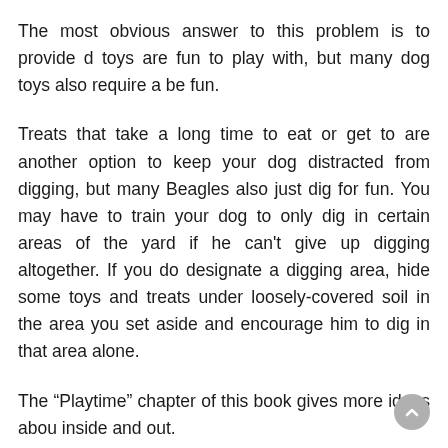The most obvious answer to this problem is to provide d... toys are fun to play with, but many dog toys also require a... be fun.
Treats that take a long time to eat or get to are another option to keep your dog distracted from digging, but many Beagles also just dig for fun. You may have to train your dog to only dig in certain areas of the yard if he can't give up digging altogether. If you do designate a digging area, hide some toys and treats under loosely-covered soil in the area you set aside and encourage him to dig in that area alone.
The “Playtime” chapter of this book gives more ideas abou... inside and out.